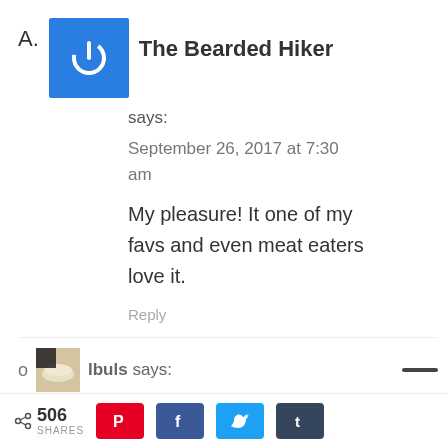A. The Bearded Hiker says:
September 26, 2017 at 7:30 am
My pleasure! It one of my favs and even meat eaters love it.
Reply
lbuls says:
< 506 SHARES